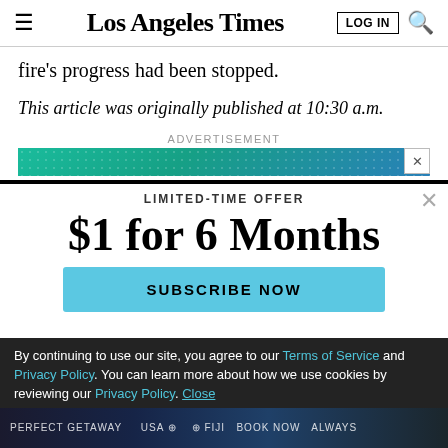Los Angeles Times
fire's progress had been stopped.
This article was originally published at 10:30 a.m.
ADVERTISEMENT
[Figure (other): Advertisement banner with teal/blue gradient and dot pattern, with close X button]
LIMITED-TIME OFFER
$1 for 6 Months
SUBSCRIBE NOW
By continuing to use our site, you agree to our Terms of Service and Privacy Policy. You can learn more about how we use cookies by reviewing our Privacy Policy. Close